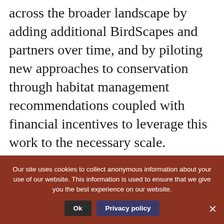across the broader landscape by adding additional BirdScapes and partners over time, and by piloting new approaches to conservation through habitat management recommendations coupled with financial incentives to leverage this work to the necessary scale.

In the U.S., ABC works extensively, though not exclusively, through and with Migratory Bird Joint Ventures
Our site uses cookies to collect anonymous information about your use of our website. This information is used to ensure that we give you the best experience on our website.